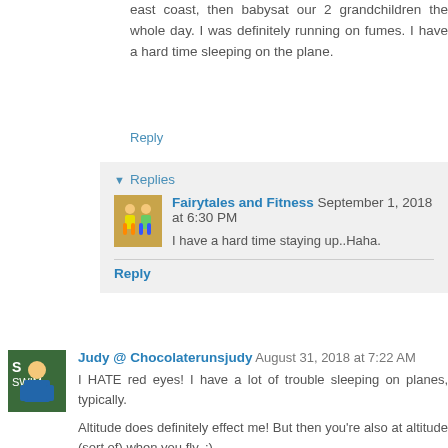east coast, then babysat our 2 grandchildren the whole day. I was definitely running on fumes. I have a hard time sleeping on the plane.
Reply
Replies
Fairytales and Fitness September 1, 2018 at 6:30 PM
I have a hard time staying up..Haha.
Reply
Judy @ Chocolaterunsjudy August 31, 2018 at 7:22 AM
I HATE red eyes! I have a lot of trouble sleeping on planes, typically.
Altitude does definitely effect me! But then you're also at altitude (sort of) when you fly. :)